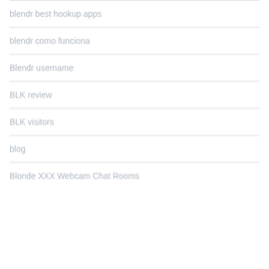blendr best hookup apps
blendr como funciona
Blendr username
BLK review
BLK visitors
blog
Blonde XXX Webcam Chat Rooms